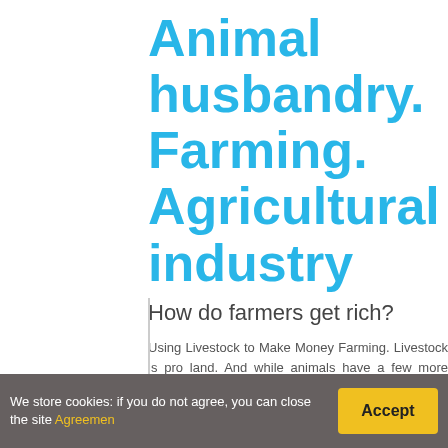Animal husbandry. Farming. Agricultural industry
How do farmers get rich?
Using Livestock to Make Money Farming. Livestock is pro land. And while animals have a few more expenses and net income. Here are just some of the ways you can mak
Who is the richest farmer in the world?
We store cookies: if you do not agree, you can close the site Agreemen
Accept